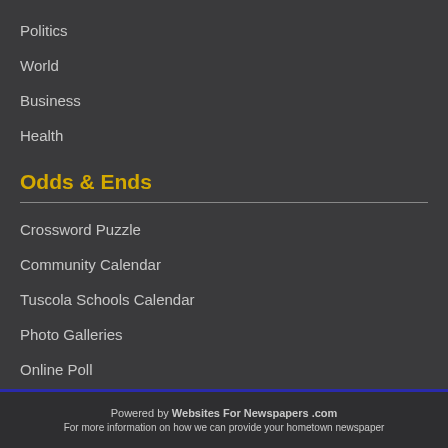Politics
World
Business
Health
Odds & Ends
Crossword Puzzle
Community Calendar
Tuscola Schools Calendar
Photo Galleries
Online Poll
Powered by Websites For Newspapers .com
For more information on how we can provide your hometown newspaper